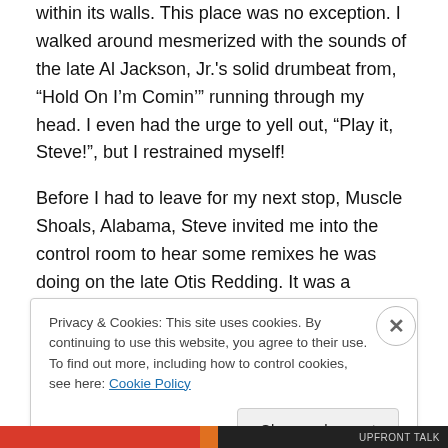within its walls. This place was no exception. I walked around mesmerized with the sounds of the late Al Jackson, Jr.'s solid drumbeat from, “Hold On I’m Comin’” running through my head. I even had the urge to yell out, “Play it, Steve!”, but I restrained myself!
Before I had to leave for my next stop, Muscle Shoals, Alabama, Steve invited me into the control room to hear some remixes he was doing on the late Otis Redding. It was a spectacular ending to a day I’ll never forget.
Since I became interested in music, I always believed that
Privacy & Cookies: This site uses cookies. By continuing to use this website, you agree to their use.
To find out more, including how to control cookies, see here: Cookie Policy